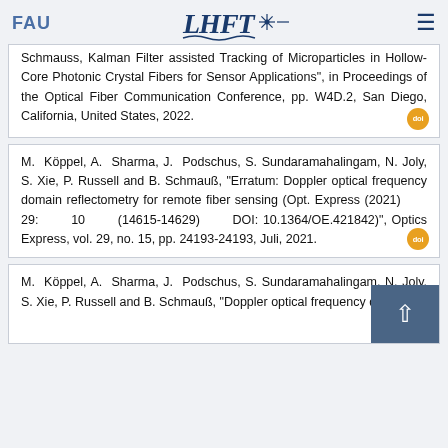FAU | LHFT
Schmauss, Kalman Filter assisted Tracking of Microparticles in Hollow-Core Photonic Crystal Fibers for Sensor Applications", in Proceedings of the Optical Fiber Communication Conference, pp. W4D.2, San Diego, California, United States, 2022.
M. Köppel, A. Sharma, J. Podschus, S. Sundaramahalingam, N. Joly, S. Xie, P. Russell and B. Schmauß, "Erratum: Doppler optical frequency domain reflectometry for remote fiber sensing (Opt. Express (2021) 29: 10 (14615-14629) DOI: 10.1364/OE.421842)", Optics Express, vol. 29, no. 15, pp. 24193-24193, Juli, 2021.
M. Köppel, A. Sharma, J. Podschus, S. Sundaramahalingam, N. Joly, S. Xie, P. Russell and B. Schmauß, "Doppler optical frequency domain